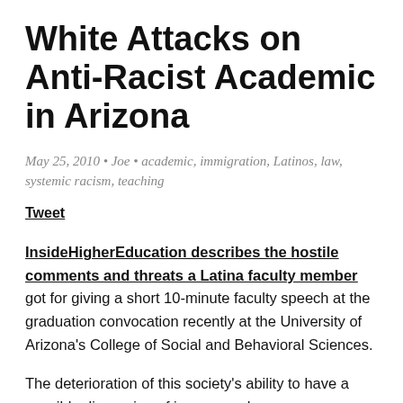White Attacks on Anti-Racist Academic in Arizona
May 25, 2010 • Joe • academic, immigration, Latinos, law, systemic racism, teaching
Tweet
InsideHigherEducation describes the hostile comments and threats a Latina faculty member got for giving a short 10-minute faculty speech at the graduation convocation recently at the University of Arizona's College of Social and Behavioral Sciences.
The deterioration of this society's ability to have a sensible discussion of issues, such as on immigration, has been